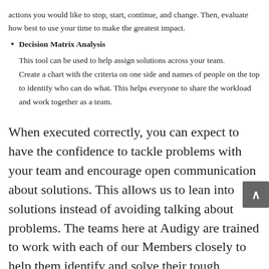actions you would like to stop, start, continue, and change. Then, evaluate how best to use your time to make the greatest impact.
Decision Matrix Analysis
This tool can be used to help assign solutions across your team. Create a chart with the criteria on one side and names of people on the top to identify who can do what. This helps everyone to share the workload and work together as a team.
When executed correctly, you can expect to have the confidence to tackle problems with your team and encourage open communication about solutions. This allows us to lean into solutions instead of avoiding talking about problems. The teams here at Audigy are trained to work with each of our Members closely to help them identify and solve their tough problems.
Click here to find out more about membership with